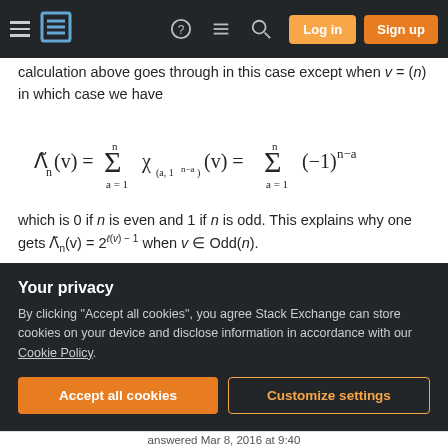Stack Exchange navigation bar with hamburger, logo, help, chat, search, Log in, Sign up
calculation above goes through in this case except when v = (n) in which case we have
which is 0 if n is even and 1 if n is odd. This explains why one gets \tilde{\Lambda}_n(v) = 2^{\ell(v)-1} when v \in Odd(n).
EDIT: It should also be possible to show that Λ_n = 2Λ̃_n directly using the fact that
[Figure (screenshot): Privacy consent banner with dark background: 'Your privacy' heading, cookie consent text, Accept all cookies button (orange), Customize settings button (outlined)]
answered Mar 8, 2016 at 9:40